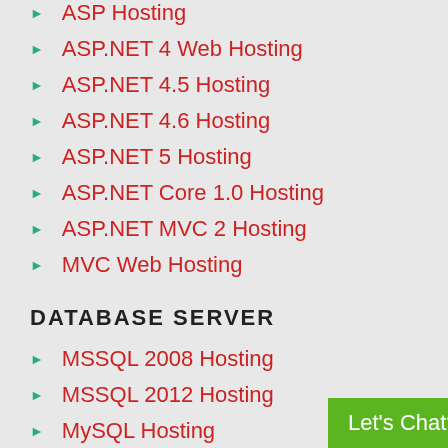ASP Hosting
ASP.NET 4 Web Hosting
ASP.NET 4.5 Hosting
ASP.NET 4.6 Hosting
ASP.NET 5 Hosting
ASP.NET Core 1.0 Hosting
ASP.NET MVC 2 Hosting
MVC Web Hosting
DATABASE SERVER
MSSQL 2008 Hosting
MSSQL 2012 Hosting
MySQL Hosting
SQL Server 2008 Web Hosting
SQL Server 2012 Hosting
SQL 2012 Reporting Services Hosting
Let's Chat? - Support